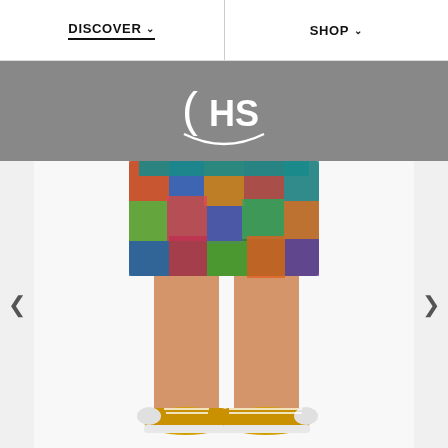DISCOVER  SHOP
[Figure (logo): HS brand logo in white on gray background, text '(HS' with a curved underline forming a smiley-like arc]
[Figure (photo): Lower body of a person wearing colorful patterned shorts (multicolor mosaic/paisley print in green, red, blue, orange) and yellow Converse sneakers, on white background. Navigation arrows on left and right.]